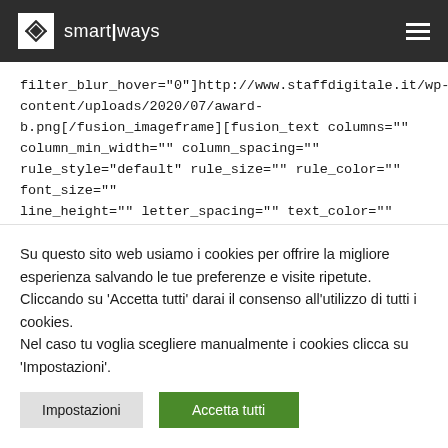smartlways
filter_blur_hover="0"]http://www.staffdigitale.it/wp-content/uploads/2020/07/award-b.png[/fusion_imageframe][fusion_text columns="" column_min_width="" column_spacing="" rule_style="default" rule_size="" rule_color="" font_size="" line_height="" letter_spacing="" text_color="" content_alignment_medium="" content_alignment_small="" content_alignment="center" animation_type=""
Su questo sito web usiamo i cookies per offrire la migliore esperienza salvando le tue preferenze e visite ripetute. Cliccando su 'Accetta tutti' darai il consenso all'utilizzo di tutti i cookies.
Nel caso tu voglia scegliere manualmente i cookies clicca su 'Impostazioni'.
Impostazioni | Accetta tutti